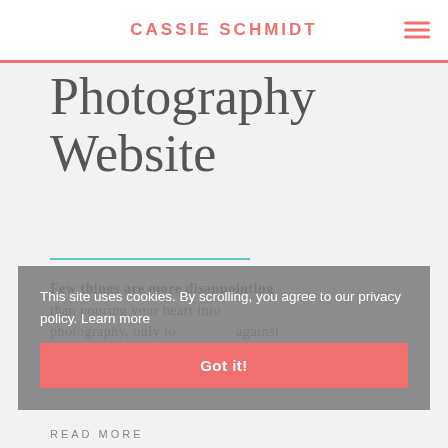CASSIE SCHMIDT
Photography Website
Few things are more disappointing than pouring your heart into photography, only to against website was a wedding, wine, and business blog clearly hadn't
This site uses cookies. By scrolling, you agree to our privacy policy. Learn more
Got it!
READ MORE